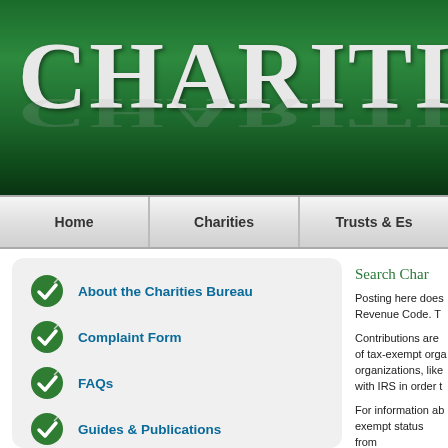[Figure (screenshot): Green banner header with 'CHARITIES' text in large serif font with reflection effect]
Home | Charities | Trusts & Es...
About the Charities Bureau
Complaint Form
FAQs
Guides & Publications
Helpful Websites
Pennies for Charity
Search Char...
Posting here does... Revenue Code. T...
Contributions are... of tax-exempt orga... organizations, like... with IRS in order t...
For information ab... exempt status from...